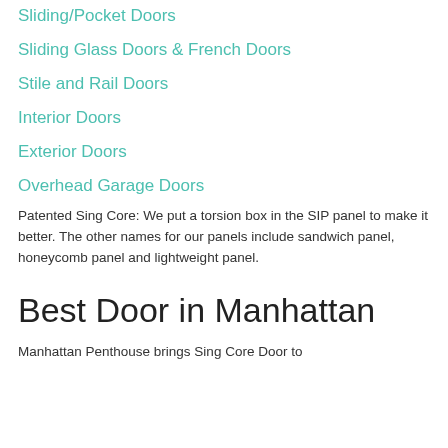Sliding/Pocket Doors
Sliding Glass Doors & French Doors
Stile and Rail Doors
Interior Doors
Exterior Doors
Overhead Garage Doors
Patented Sing Core: We put a torsion box in the SIP panel to make it better. The other names for our panels include sandwich panel, honeycomb panel and lightweight panel.
Best Door in Manhattan
Manhattan Penthouse brings Sing Core Door to